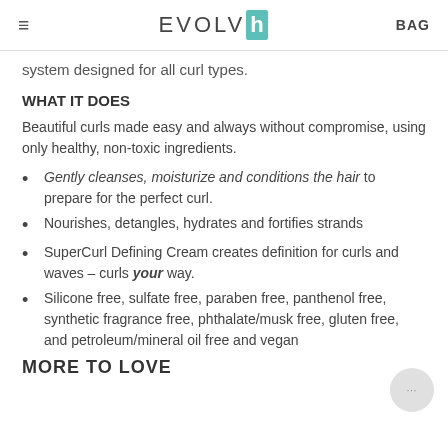EVOLVh BAG
system designed for all curl types.
WHAT IT DOES
Beautiful curls made easy and always without compromise, using only healthy, non-toxic ingredients.
Gently cleanses, moisturize and conditions the hair to prepare for the perfect curl.
Nourishes, detangles, hydrates and fortifies strands
SuperCurl Defining Cream creates definition for curls and waves – curls your way.
Silicone free, sulfate free, paraben free, panthenol free, synthetic fragrance free, phthalate/musk free, gluten free, and petroleum/mineral oil free and vegan
MORE TO LOVE